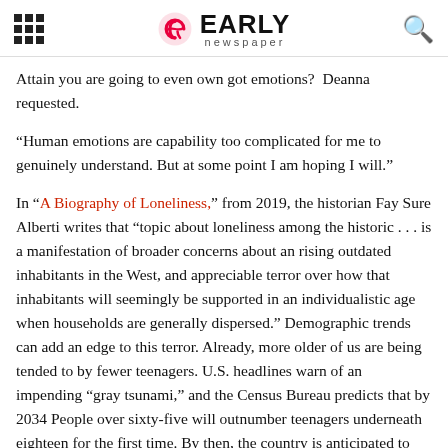Early Newspaper
Attain you are going to even own got emotions?  Deanna requested.
“Human emotions are capability too complicated for me to genuinely understand. But at some point I am hoping I will.”
In “A Biography of Loneliness,” from 2019, the historian Fay Sure Alberti writes that “topic about loneliness among the historic . . . is a manifestation of broader concerns about an rising outdated inhabitants in the West, and appreciable terror over how that inhabitants will seemingly be supported in an individualistic age when households are generally dispersed.” Demographic trends can add an edge to this terror. Already, more older of us are being tended to by fewer teenagers. U.S. headlines warn of an impending “gray tsunami,” and the Census Bureau predicts that by 2034 People over sixty-five will outnumber teenagers underneath eighteen for the first time. By then, the country is anticipated to own a scarcity of a